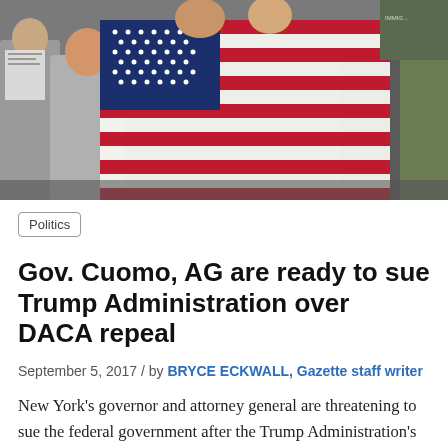[Figure (photo): Protesters holding an American flag draped over their shoulders at a rally, surrounded by other demonstrators.]
Politics
Gov. Cuomo, AG are ready to sue Trump Administration over DACA repeal
September 5, 2017 / by BRYCE ECKWALL, Gazette staff writer
New York's governor and attorney general are threatening to sue the federal government after the Trump Administration's announcement to end Deferred Action for Childhood Arrivals, or DACA. The legal challenge,